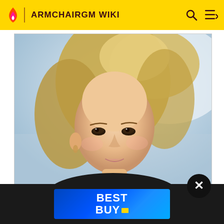ARMCHAIRGM WIKI
[Figure (photo): Portrait photo of a blonde woman with flowing hair, smiling slightly, photographed outdoors against a bright light blue/white background (beach or sky). The image is slightly blurred/soft focus.]
[Figure (logo): Best Buy advertisement banner with blue gradient background showing the Best Buy logo (BEST BUY with yellow price tag icon) in white bold text.]